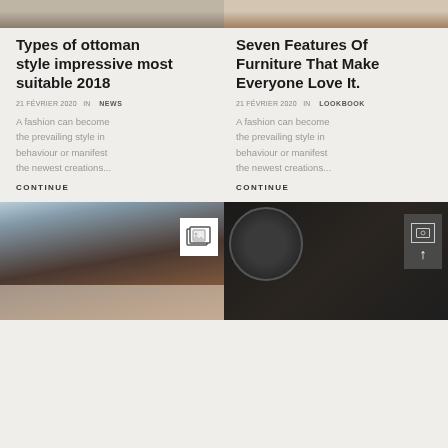[Figure (photo): Top partial image strip left - furniture/interior]
[Figure (photo): Top partial image strip right - interior]
Types of ottoman style impressive most suitable 2018
21 FÉVRIER 2020  IN   NEWS
A fashion can become the prevailing style in behaviour or manifest the newest creations...
CONTINUE
Seven Features Of Furniture That Make Everyone Love It.
21 FÉVRIER 2020  IN   LOOKBOOK
A fashion can become the prevailing style in behaviour or manifest the newest creations...
CONTINUE
[Figure (photo): Bottom left - modern living room interior with large windows and brick wall]
[Figure (photo): Bottom right - camera and accessories flat lay on dark background]